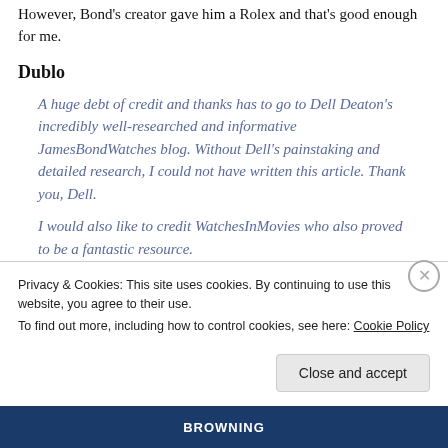However, Bond's creator gave him a Rolex and that's good enough for me.
Dublo
A huge debt of credit and thanks has to go to Dell Deaton's incredibly well-researched and informative JamesBondWatches blog. Without Dell's painstaking and detailed research, I could not have written this article. Thank you, Dell.
I would also like to credit WatchesInMovies who also proved to be a fantastic resource.
Privacy & Cookies: This site uses cookies. By continuing to use this website, you agree to their use.
To find out more, including how to control cookies, see here: Cookie Policy
Close and accept